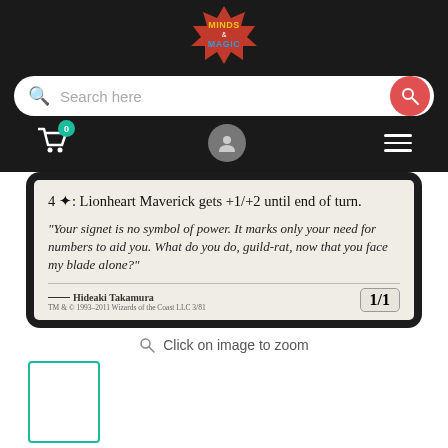[Figure (screenshot): Top navigation bar with Minds & Magic logo, search bar, cart icon with badge 0, user icon, and hamburger menu]
[Figure (photo): Magic: The Gathering card close-up showing Lionheart Maverick card text: '4 *: Lionheart Maverick gets +1/+2 until end of turn.' Flavor text in italics: 'Your signet is no symbol of power. It marks only your need for numbers to aid you. What do you do, guild-rat, now that you face my blade alone?' Artist: Hideaki Takamura. TM & © 1993-2011 Wizards of the Coast LLC 3/81. Power/Toughness: 1/1]
Click on image to zoom
[Figure (photo): Small thumbnail of the same Magic card with teal border]